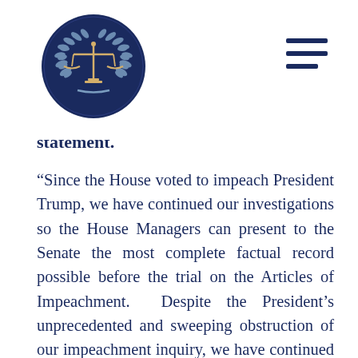[Figure (logo): Circular logo with scales of justice and laurel wreath on dark navy blue background]
statement.
“Since the House voted to impeach President Trump, we have continued our investigations so the House Managers can present to the Senate the most complete factual record possible before the trial on the Articles of Impeachment. Despite the President’s unprecedented and sweeping obstruction of our impeachment inquiry, we have continued to collect additional evidence relevant to the President's scheme to abuse his power by pressing Ukraine to interfere in